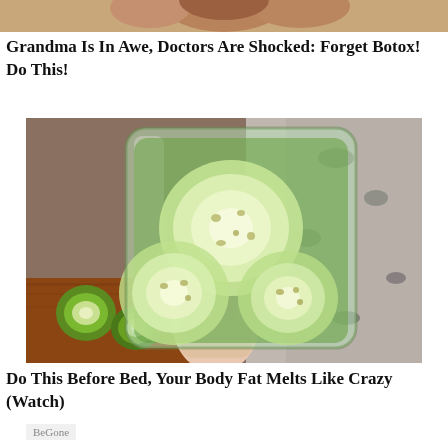[Figure (photo): Partial view of a person's face/shoulder, cropped at top of page]
Grandma Is In Awe, Doctors Are Shocked: Forget Botox! Do This!
[Figure (photo): A hand holding a glass jar filled with sliced cucumbers and green liquid, with cucumber slices on a cutting board in the background]
Do This Before Bed, Your Body Fat Melts Like Crazy (Watch)
BeGone